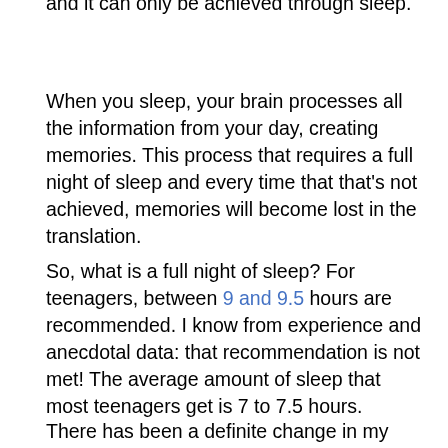and it can only be achieved through sleep.
When you sleep, your brain processes all the information from your day, creating memories. This process that requires a full night of sleep and every time that that's not achieved, memories will become lost in the translation.
So, what is a full night of sleep? For teenagers, between 9 and 9.5 hours are recommended. I know from experience and anecdotal data: that recommendation is not met! The average amount of sleep that most teenagers get is 7 to 7.5 hours.
There has been a definite change in my sleep pattern since I've started high school. I get about 6 hours of sleep every night compared to 8 that I used to have. It's no wonder that I've been having such a difficult time remembering things that have happened to me in the past few years. But memory isn't